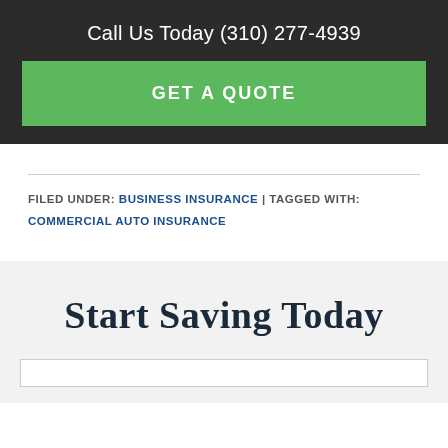Call Us Today (310) 277-4939
GET A QUOTE
FILED UNDER: BUSINESS INSURANCE | TAGGED WITH: COMMERCIAL AUTO INSURANCE
Start Saving Today